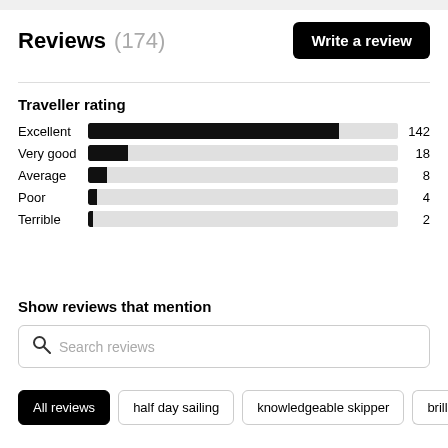Reviews (174)
[Figure (bar-chart): Traveller rating]
Show reviews that mention
Search reviews
All reviews
half day sailing
knowledgeable skipper
brilliant c